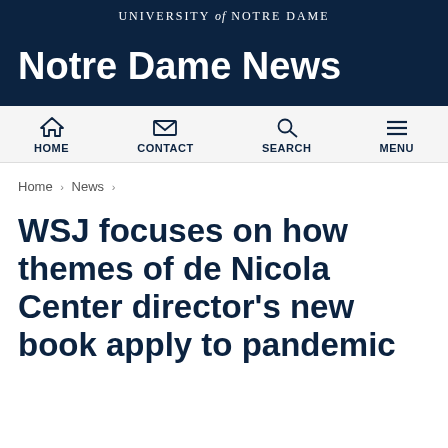UNIVERSITY of NOTRE DAME
Notre Dame News
[Figure (other): Navigation bar with icons for HOME, CONTACT, SEARCH, MENU]
Home › News ›
WSJ focuses on how themes of de Nicola Center director's new book apply to pandemic